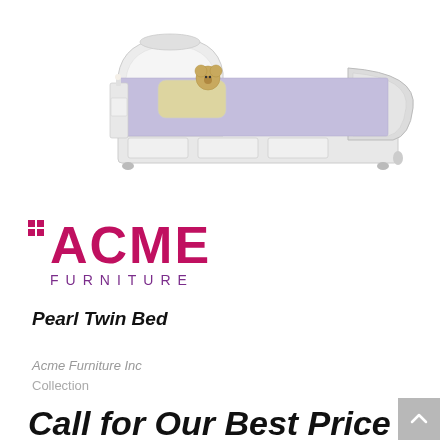[Figure (photo): White sleigh twin bed with lavender bedding, decorative pillow, and a teddy bear sitting on the bed, with a white nightstand beside it.]
[Figure (logo): ACME FURNITURE logo — ACME in large bold pink/magenta letters with a small grid icon, FURNITURE in smaller purple spaced letters below.]
Pearl Twin Bed
Acme Furniture Inc
Collection
Call for Our Best Price